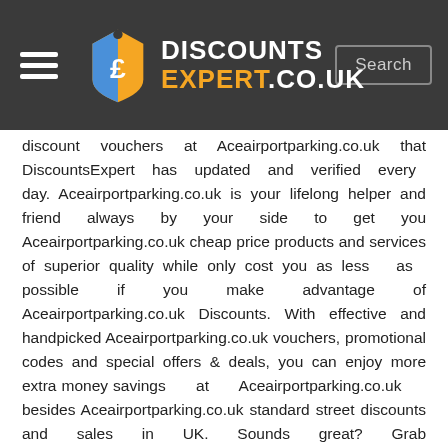DISCOUNTS EXPERT.CO.UK
discount vouchers at Aceairportparking.co.uk that DiscountsExpert has updated and verified every day. Aceairportparking.co.uk is your lifelong helper and friend always by your side to get you Aceairportparking.co.uk cheap price products and services of superior quality while only cost you as less as possible if you make advantage of Aceairportparking.co.uk Discounts. With effective and handpicked Aceairportparking.co.uk vouchers, promotional codes and special offers & deals, you can enjoy more extra money savings at Aceairportparking.co.uk besides Aceairportparking.co.uk standard street discounts and sales in UK. Sounds great? Grab Aceairportparking.co.uk voucher codes and big sales for your Aceairportparking.co.uk purchase in Nov 2020!
How Can I Use Aceairportparking.co.uk Promo Codes?
Some placeholder text appears at the bottom of the page.